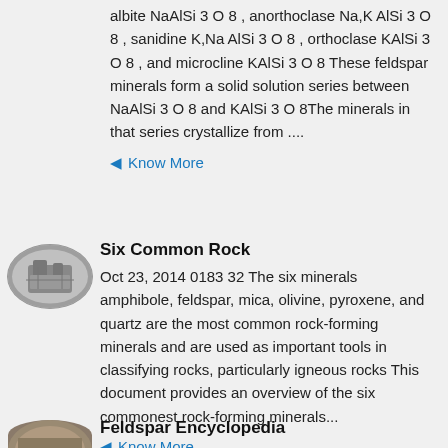albite NaAlSi 3 O 8 , anorthoclase Na,K AlSi 3 O 8 , sanidine K,Na AlSi 3 O 8 , orthoclase KAlSi 3 O 8 , and microcline KAlSi 3 O 8 These feldspar minerals form a solid solution series between NaAlSi 3 O 8 and KAlSi 3 O 8The minerals in that series crystallize from ....
Know More
[Figure (photo): Oval thumbnail photo of industrial mineral processing equipment]
Six Common Rock
Oct 23, 2014 0183 32 The six minerals amphibole, feldspar, mica, olivine, pyroxene, and quartz are the most common rock-forming minerals and are used as important tools in classifying rocks, particularly igneous rocks This document provides an overview of the six commonest rock-forming minerals...
Know More
[Figure (photo): Oval thumbnail photo of a rock or mineral specimen]
Feldspar Encyclopedia